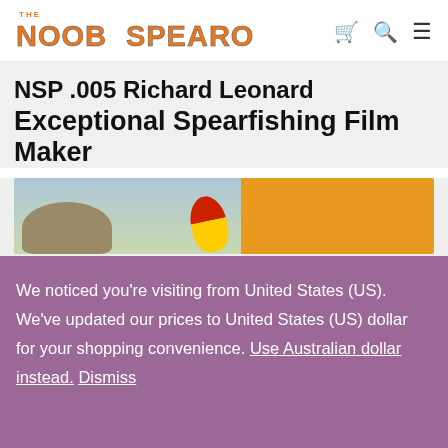THE NOOB SPEARO
NSP .005 Richard Leonard Exceptional Spearfishing Film Maker
[Figure (photo): Partial image showing a person wearing a hat and a red/yellow spearfishing buoy against a light blue sky, with an orange rectangle on the right side]
We noticed you're visiting from United States (US). We've updated our prices to United States (US) dollar for your shopping convenience. Use Australian dollar instead. Dismiss